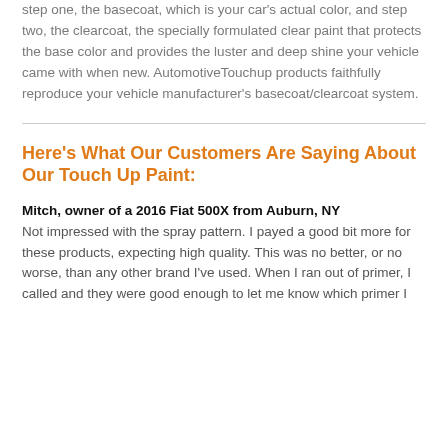step one, the basecoat, which is your car's actual color, and step two, the clearcoat, the specially formulated clear paint that protects the base color and provides the luster and deep shine your vehicle came with when new. AutomotiveTouchup products faithfully reproduce your vehicle manufacturer's basecoat/clearcoat system.
Here's What Our Customers Are Saying About Our Touch Up Paint:
Mitch, owner of a 2016 Fiat 500X from Auburn, NY
Not impressed with the spray pattern. I payed a good bit more for these products, expecting high quality. This was no better, or no worse, than any other brand I've used. When I ran out of primer, I called and they were good enough to let me know which primer I